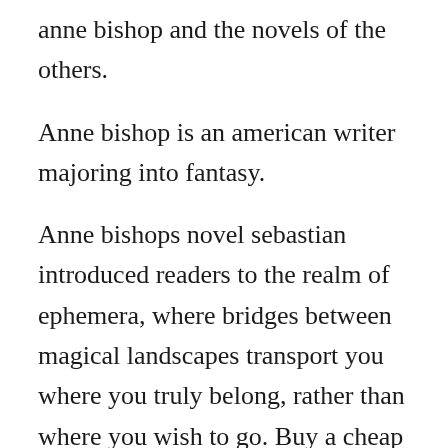anne bishop and the novels of the others.
Anne bishop is an american writer majoring into fantasy.
Anne bishops novel sebastian introduced readers to the realm of ephemera, where bridges between magical landscapes transport you where you truly belong, rather than where you wish to go. Buy a cheap copy of vision in white book by nora roberts. This one comes highly recommended by both bev and michelle. All her books are accessible in electronic formats. Seriously, im so happy, im